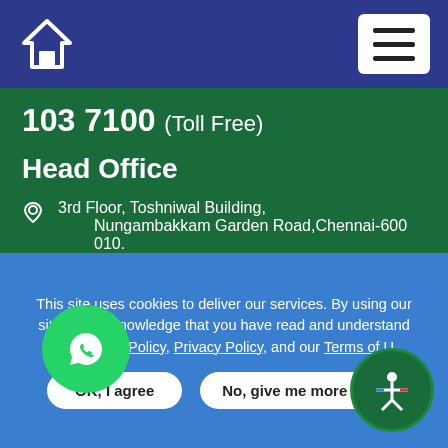103 7100 (Toll Free)
Head Office
3rd Floor, Toshniwal Building,
Nungambakkam Garden Road, Chennai-600 010.
26447000
info@mohanfoundation.org
Transplant Registries
Tamil Nadu Network for Organ Sharing
This site uses cookies to deliver our services. By using our site, you acknowledge that you have read and understand our Cookie Policy, Privacy Policy, and our Terms of Use.